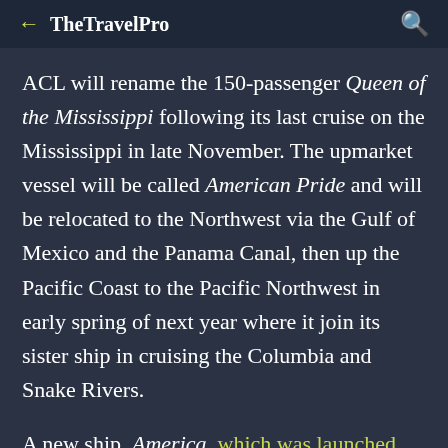TheTravelPro
ACL will rename the 150-passenger Queen of the Mississippi following its last cruise on the Mississippi in late November. The upmarket vessel will be called American Pride and will be relocated to the Northwest via the Gulf of Mexico and the Panama Canal, then up the Pacific Coast to the Pacific Northwest in early spring of next year where it join its sister ship in cruising the Columbia and Snake Rivers.
A new ship, America, which was launched Aug. 7, will replace the Queen of the Mississippi and is